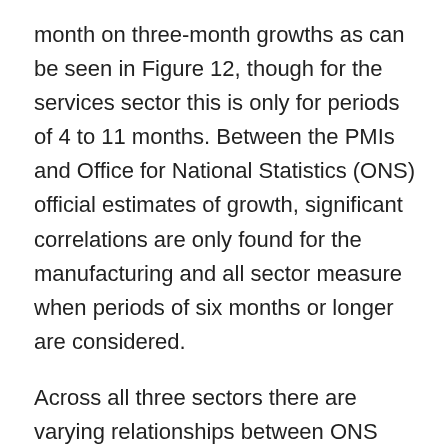month on three-month growths as can be seen in Figure 12, though for the services sector this is only for periods of 4 to 11 months. Between the PMIs and Office for National Statistics (ONS) official estimates of growth, significant correlations are only found for the manufacturing and all sector measure when periods of six months or longer are considered.
Across all three sectors there are varying relationships between ONS three-month on three-month data and PMIs. Both services and construction show significant correlation between the MBS-based diffusion index and PMIs but no relationship between PMIs and official estimates of growth. In contrast, manufacturing has no significant correlation between the diffusion index...